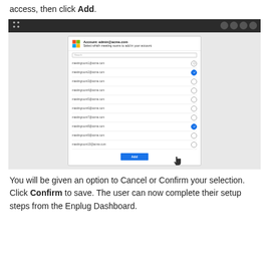access, then click Add.
[Figure (screenshot): Screenshot of a web application showing a dialog box to select meeting rooms to add to an account (admin@acme.com). The dialog lists 10 meeting rooms (meetingroom1@acme.com through meetingroom10@acme.com). meetingroom2@acme.com and meetingroom8@acme.com are selected (blue checkmark). A blue Add button is at the bottom with a cursor hand pointing to it. The page has a dark toolbar with social media icons.]
You will be given an option to Cancel or Confirm your selection. Click Confirm to save. The user can now complete their setup steps from the Enplug Dashboard.